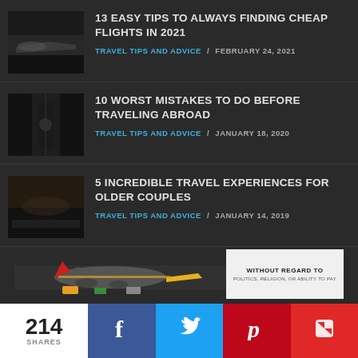13 EASY TIPS TO ALWAYS FINDING CHEAP FLIGHTS IN 2021
TRAVEL TIPS AND ADVICE / FEBRUARY 24, 2021
10 WORST MISTAKES TO DO BEFORE TRAVELING ABROAD
TRAVEL TIPS AND ADVICE / JANUARY 18, 2020
5 INCREDIBLE TRAVEL EXPERIENCES FOR OLDER COUPLES
TRAVEL TIPS AND ADVICE / JANUARY 14, 2019
[Figure (photo): Banner advertisement showing cargo plane being loaded with freight, and text 'WITHOUT REGARD TO' on white background]
214 SHARES
[Figure (infographic): Social share bar with Facebook, Twitter, Pinterest, and Flipboard buttons]